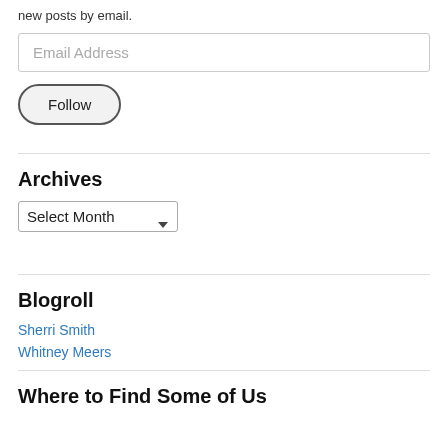new posts by email.
Email Address
Follow
Archives
Select Month
Blogroll
Sherri Smith
Whitney Meers
Where to Find Some of Us